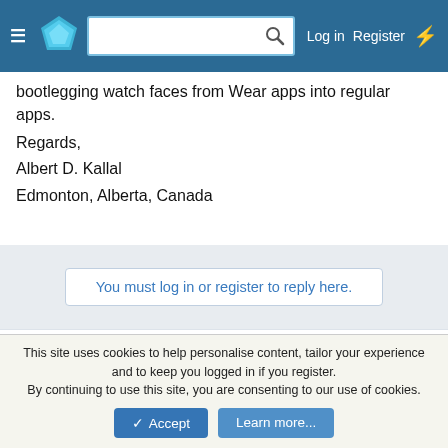Navigation bar with hamburger menu, logo, search box, Log in, Register, lightning bolt
bootlegging watch faces from Wear apps into regular apps.
Regards,
Albert D. Kallal
Edmonton, Alberta, Canada
You must log in or register to reply here.
Similar Threads
Android Tutorial 🔲 Retrieving 2 JSON data feeds from an online server (Wear OS watch face) - Newer developers
This site uses cookies to help personalise content, tailor your experience and to keep you logged in if you register.
By continuing to use this site, you are consenting to our use of cookies.